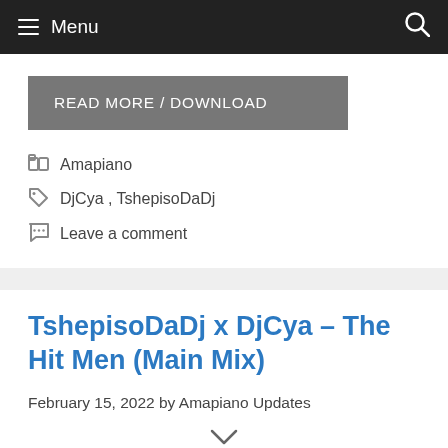Menu
READ MORE / DOWNLOAD
Amapiano
DjCya, TshepisoDaDj
Leave a comment
TshepisoDaDj x DjCya – The Hit Men (Main Mix)
February 15, 2022 by Amapiano Updates